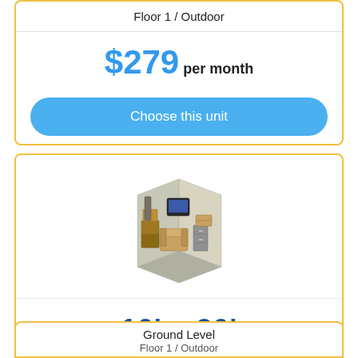Floor 1 / Outdoor
$279 per month
Choose this unit
[Figure (illustration): 3D illustration of a storage unit interior filled with furniture, boxes, filing cabinets, and household items]
10' x 30'
Medium Unit
Ground Level
Floor 1 / Outdoor